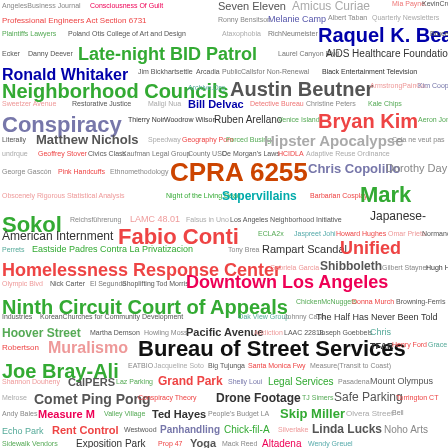[Figure (infographic): Word cloud containing terms related to Los Angeles civic topics, legal concepts, people, and places, rendered in various colors and font sizes indicating frequency/importance.]